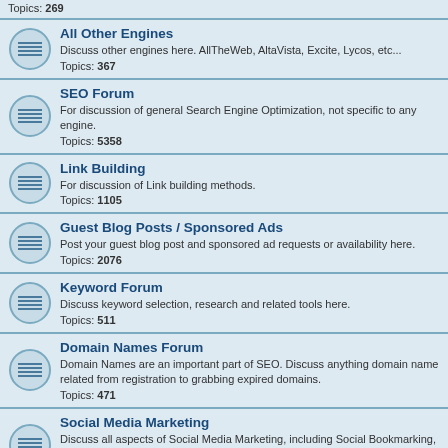Topics: 269
All Other Engines
Discuss other engines here. AllTheWeb, AltaVista, Excite, Lycos, etc...
Topics: 367
SEO Forum
For discussion of general Search Engine Optimization, not specific to any engine.
Topics: 5358
Link Building
For discussion of Link building methods.
Topics: 1105
Guest Blog Posts / Sponsored Ads
Post your guest blog post and sponsored ad requests or availability here.
Topics: 2076
Keyword Forum
Discuss keyword selection, research and related tools here.
Topics: 511
Domain Names Forum
Domain Names are an important part of SEO. Discuss anything domain name related from registration to grabbing expired domains.
Topics: 471
Social Media Marketing
Discuss all aspects of Social Media Marketing, including Social Bookmarking, Blogs, Facebook, Twitter, MySpace, Youtube, Linkedin, Digg and others.
Topics: 834
Reputation Management
Discuss online reputation management here, including Ripoffreport...